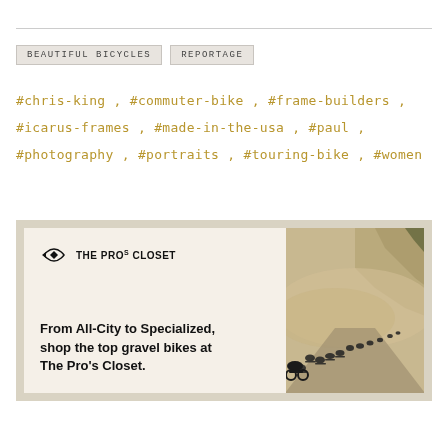BEAUTIFUL BICYCLES
REPORTAGE
#chris-king , #commuter-bike , #frame-builders , #icarus-frames , #made-in-the-usa , #paul , #photography , #portraits , #touring-bike , #women
[Figure (photo): Advertisement banner for The Pro's Closet showing logo on left with text 'From All-City to Specialized, shop the top gravel bikes at The Pro's Closet.' and a photo of cyclists riding on a dusty gravel road on the right.]